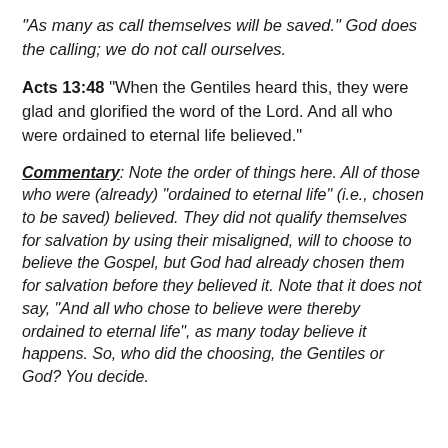“As many as call themselves will be saved.” God does the calling; we do not call ourselves.
Acts 13:48 “When the Gentiles heard this, they were glad and glorified the word of the Lord. And all who were ordained to eternal life believed.”
Commentary: Note the order of things here. All of those who were (already) “ordained to eternal life” (i.e., chosen to be saved) believed. They did not qualify themselves for salvation by using their misaligned, will to choose to believe the Gospel, but God had already chosen them for salvation before they believed it. Note that it does not say, “And all who chose to believe were thereby ordained to eternal life”, as many today believe it happens. So, who did the choosing, the Gentiles or God? You decide.